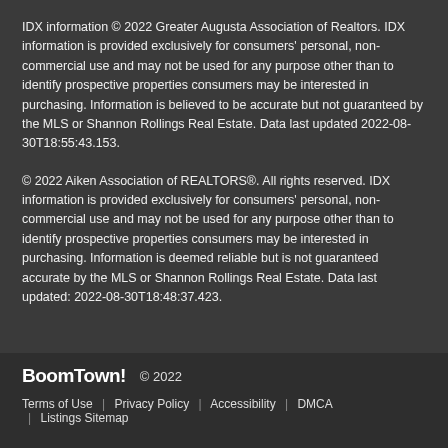IDX information © 2022 Greater Augusta Association of Realtors. IDX information is provided exclusively for consumers' personal, non-commercial use and may not be used for any purpose other than to identify prospective properties consumers may be interested in purchasing. Information is believed to be accurate but not guaranteed by the MLS or Shannon Rollings Real Estate. Data last updated 2022-08-30T18:55:43.153.
© 2022 Aiken Association of REALTORS®. All rights reserved. IDX information is provided exclusively for consumers' personal, non-commercial use and may not be used for any purpose other than to identify prospective properties consumers may be interested in purchasing. Information is deemed reliable but is not guaranteed accurate by the MLS or Shannon Rollings Real Estate. Data last updated: 2022-08-30T18:48:37.423.
BoomTown! © 2022 | Terms of Use | Privacy Policy | Accessibility | DMCA | Listings Sitemap